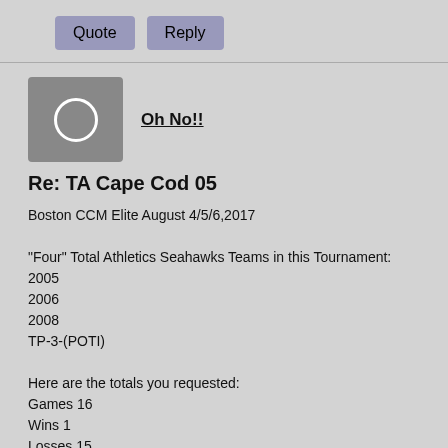Quote  Reply
Oh No!!
Re: TA Cape Cod 05
Boston CCM Elite August 4/5/6,2017

"Four" Total Athletics Seahawks Teams in this Tournament:
2005
2006
2008
TP-3-(POTI)

Here are the totals you requested:
Games 16
Wins 1
Losses 15
Ties 0 (1 OT Game Loss)
Entire Stats:
Goals For 33
Goals Against 97